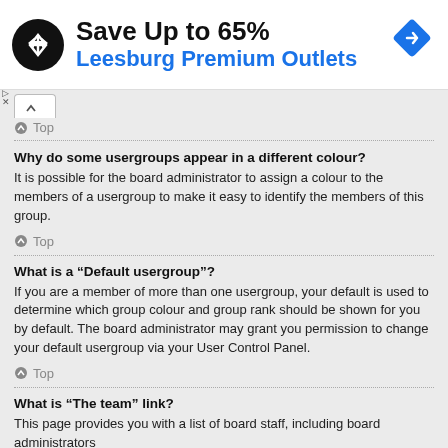[Figure (other): Advertisement banner for Leesburg Premium Outlets with logo, text 'Save Up to 65%' and blue navigation icon]
Top
Why do some usergroups appear in a different colour?
It is possible for the board administrator to assign a colour to the members of a usergroup to make it easy to identify the members of this group.
Top
What is a “Default usergroup”?
If you are a member of more than one usergroup, your default is used to determine which group colour and group rank should be shown for you by default. The board administrator may grant you permission to change your default usergroup via your User Control Panel.
Top
What is “The team” link?
This page provides you with a list of board staff, including board administrators